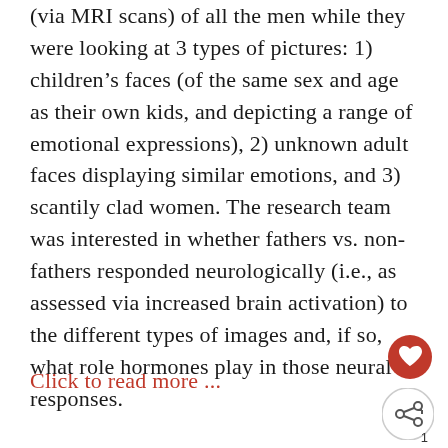(via MRI scans) of all the men while they were looking at 3 types of pictures: 1) children's faces (of the same sex and age as their own kids, and depicting a range of emotional expressions), 2) unknown adult faces displaying similar emotions, and 3) scantily clad women. The research team was interested in whether fathers vs. non-fathers responded neurologically (i.e., as assessed via increased brain activation) to the different types of images and, if so, what role hormones play in those neural responses.
Click to read more ...